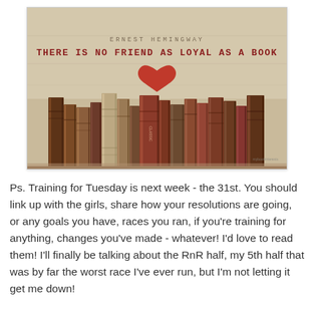[Figure (illustration): A stylized image of old leather-bound books standing upright with a quote attributed to Ernest Hemingway: 'THERE IS NO FRIEND AS LOYAL AS A BOOK', with a red heart above the books on a beige/tan textured background.]
Ps. Training for Tuesday is next week - the 31st.  You should link up with the girls, share how your resolutions are going, or any goals you have, races you ran, if you're training for anything, changes you've made - whatever! I'd love to read them! I'll finally be talking about the RnR half, my 5th half that was by far the worst race I've ever run, but I'm not letting it get me down!